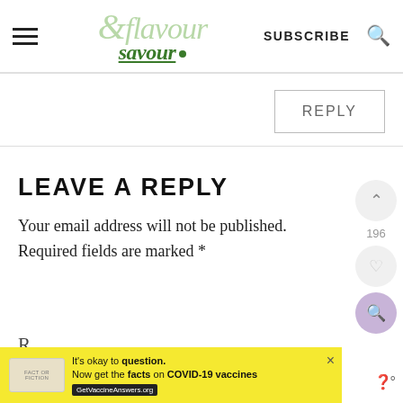flavour & savour — navigation header with SUBSCRIBE and search
REPLY
LEAVE A REPLY
Your email address will not be published. Required fields are marked *
[Figure (screenshot): COVID-19 vaccine advertisement banner: It's okay to question. Now get the facts on COVID-19 vaccines. GetVaccineAnswers.org]
196